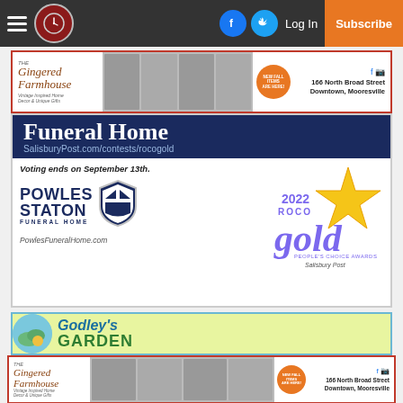Navigation bar with hamburger menu, clock logo, Facebook icon, Twitter icon, Log In, Subscribe
[Figure (advertisement): The Gingered Farmhouse ad - Vintage Inspired Home Decor & Unique Gifts, 166 North Broad Street, Downtown, Mooresville]
[Figure (advertisement): Powles Staton Funeral Home ad for 2022 ROCO Gold People's Choice Awards from Salisbury Post. Voting ends on September 13th. SalisburyPost.com/contests/rocogold. PowlesFuneralHome.com]
[Figure (advertisement): Godley's Garden advertisement with teal circle logo]
[Figure (advertisement): The Gingered Farmhouse ad (repeated) - 166 North Broad Street, Downtown, Mooresville]